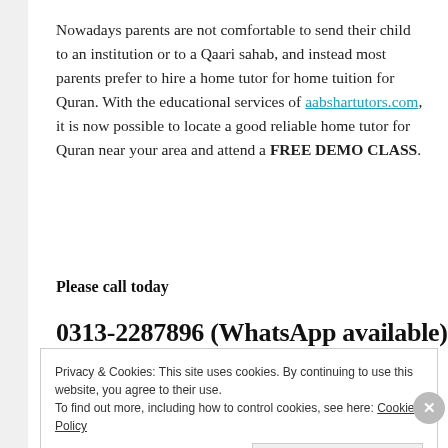Nowadays parents are not comfortable to send their child to an institution or to a Qaari sahab, and instead most parents prefer to hire a home tutor for home tuition for Quran. With the educational services of aabshartutors.com, it is now possible to locate a good reliable home tutor for Quran near your area and attend a FREE DEMO CLASS.
Please call today
0313-2287896 (WhatsApp available)
Privacy & Cookies: This site uses cookies. By continuing to use this website, you agree to their use. To find out more, including how to control cookies, see here: Cookie Policy